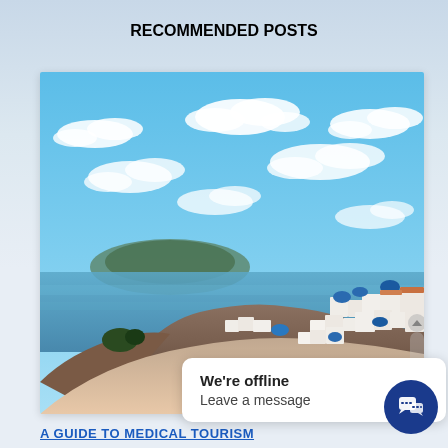RECOMMENDED POSTS
[Figure (photo): Aerial/elevated view of Santorini, Greece, showing white-washed buildings with blue domed churches clinging to cliffs above the caldera sea, with a mountainous island in the background and a bright blue sky with white clouds.]
We're offline
Leave a message
A GUIDE TO MEDICAL TOURISM